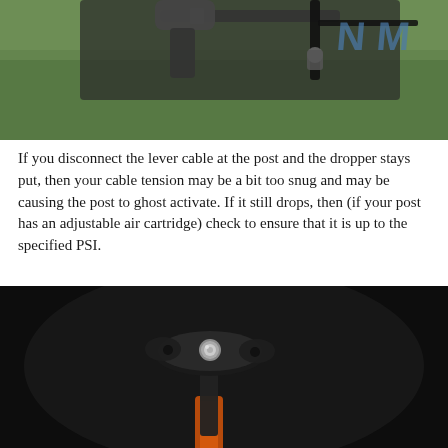[Figure (photo): Close-up photo of a bicycle dropper post lever and cable connection against a green outdoor background. Black components visible with cable routing detail.]
If you disconnect the lever cable at the post and the dropper stays put, then your cable tension may be a bit too snug and may be causing the post to ghost activate. If it still drops, then (if your post has an adjustable air cartridge) check to ensure that it is up to the specified PSI.
[Figure (photo): Close-up photo of a dropper post top cap/head with a silver bolt, shown against a dark/black background with an orange dropper post tube visible at the bottom.]